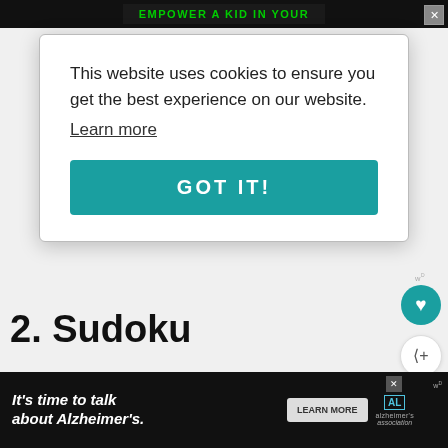[Figure (screenshot): Top advertisement banner with green text 'EMPOWER A KID IN YOUR' on dark background with close X button]
This website uses cookies to ensure you get the best experience on our website.
Learn more
GOT IT!
2. Sudoku
Sudoku is a classic game that can now be downloaded to iOS or Android devices (available on the Apple App Store and Go... s are
[Figure (screenshot): What's Next panel showing thumbnail and text '11 Helpful Devices to L...']
[Figure (screenshot): Bottom advertisement banner: It's time to talk about Alzheimer's. with LEARN MORE button and Alzheimer's Association logo]